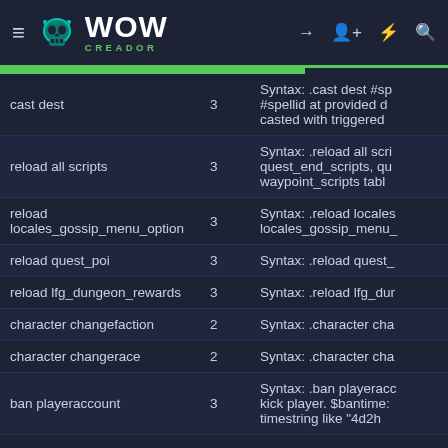WOW CREADOR
| Command | Level | Description |
| --- | --- | --- |
| cast dest | 3 | Syntax: .cast dest #sp #spellid at provided d casted with triggered |
| reload all scripts | 3 | Syntax: .reload all scri quest_end_scripts, qu waypoint_scripts tabl |
| reload locales_gossip_menu_option | 3 | Syntax: .reload locales locales_gossip_menu_ |
| reload quest_poi | 3 | Syntax: .reload quest_ |
| reload lfg_dungeon_rewards | 3 | Syntax: .reload lfg_dur |
| character changefaction | 2 | Syntax: .character cha |
| character changerace | 2 | Syntax: .character cha |
| ban playeraccount | 3 | Syntax: .ban playeracc kick player. $bantime: timestring like "4d2h |